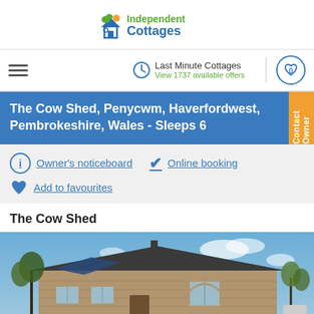[Figure (logo): Independent Cottages logo with house icon (blue house outline, green roof/leaves, orange circle accent) and green 'Independent' and blue 'Cottages' text]
Last Minute Cottages
View 1737 available offers
The Cow Shed, Penycwm, Haverfordwest, Pembrokeshire, Wales - Sleeps 6
Owner's noticeboard
Online booking
Add to favourites
The Cow Shed
[Figure (photo): Exterior photo of a stone cottage/barn conversion with a dark slate roof, circular arched window, solar panels, and trees in the background under a blue sky with clouds]